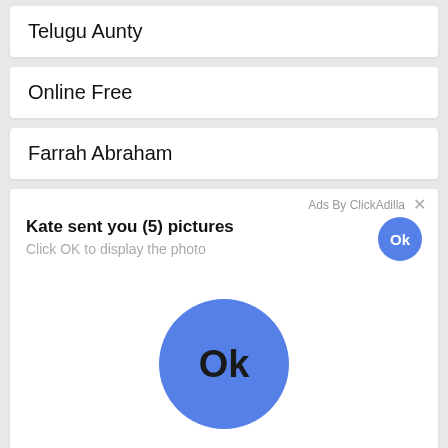Telugu Aunty
Online Free
Farrah Abraham
[Figure (screenshot): Ad overlay popup from ClickAdilla showing 'Kate sent you (5) pictures' with 'Click OK to display the photo' message, a small blue Ok button in the top right and a large blue Ok button in the center of the popup.]